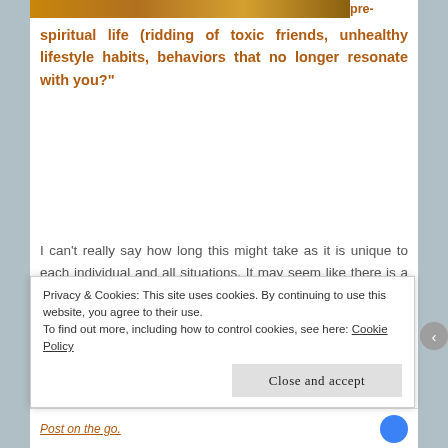[Figure (photo): Decorative image strip showing warm amber/orange bokeh lights]
pre-
spiritual life (ridding of toxic friends, unhealthy lifestyle habits, behaviors that no longer resonate with you?"
I can't really say how long this might take as it is unique to each individual and all situations. It may seem like there is a before and after to our becoming spiritual, but in reality, all life is spiritual and there is no before and after time. For myself, once I get the clear message that change needs to happen in my life, I try and make the changes as quickly and as gracefully as I can, for all the
Privacy & Cookies: This site uses cookies. By continuing to use this website, you agree to their use.
To find out more, including how to control cookies, see here: Cookie Policy
Close and accept
Post on the go.